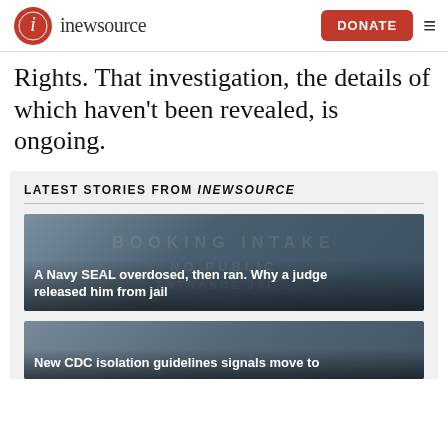inewsource | DONATE
Rights. That investigation, the details of which haven't been revealed, is ongoing.
LATEST STORIES FROM INEWSOURCE
[Figure (photo): Photo of jail intake sign with text overlay: A Navy SEAL overdosed, then ran. Why a judge released him from jail]
[Figure (photo): Photo with text overlay starting: New CDC isolation guidelines signals move to]